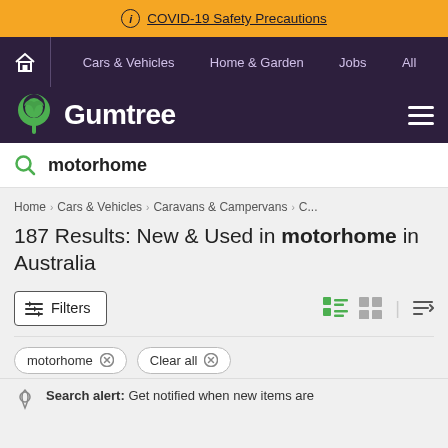COVID-19 Safety Precautions
Cars & Vehicles  Home & Garden  Jobs  All
Gumtree
motorhome
Home > Cars & Vehicles > Caravans & Campervans > C...
187 Results: New & Used in motorhome in Australia
Filters
motorhome  Clear all
Search alert: Get notified when new items are